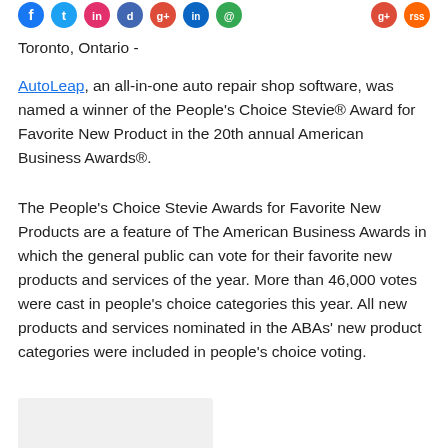Social media icons row
Toronto, Ontario -
AutoLeap, an all-in-one auto repair shop software, was named a winner of the People's Choice Stevie® Award for Favorite New Product in the 20th annual American Business Awards®.
The People's Choice Stevie Awards for Favorite New Products are a feature of The American Business Awards in which the general public can vote for their favorite new products and services of the year. More than 46,000 votes were cast in people's choice categories this year. All new products and services nominated in the ABAs' new product categories were included in people's choice voting.
[Figure (other): Partial bottom image, cropped at page edge]